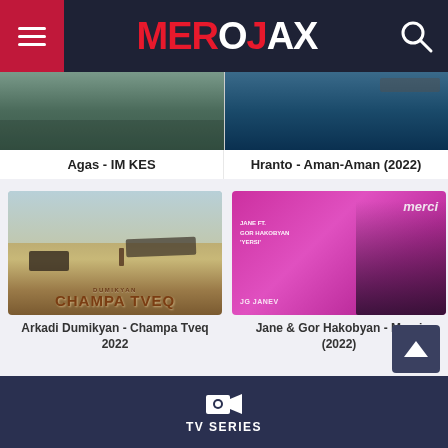MEROJAX
[Figure (screenshot): Partially visible thumbnail for Agas - IM KES music video]
Agas - IM KES
[Figure (screenshot): Partially visible thumbnail for Hranto - Aman-Aman (2022) music video]
Hranto - Aman-Aman (2022)
[Figure (photo): Thumbnail for Arkadi Dumikyan - Champa Tveq 2022 music video, showing desert scene with jeep and plane, text DUMIKYAN CHAMPA TVEQ]
Arkadi Dumikyan - Champa Tveq 2022
[Figure (photo): Thumbnail for Jane & Gor Hakobyan - Merci (2022), showing couple on pink background with Merci text and JANE FT. GOR HAKOBYAN YERSI text]
Jane & Gor Hakobyan - Merci (2022)
Watch All Music Videos ►
TV SERIES